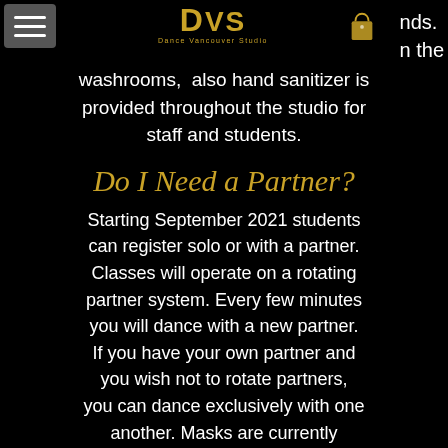DVS Dance Vancouver Studio navigation header with hamburger menu and shopping bag icon
nds. n the washrooms, also hand sanitizer is provided throughout the studio for staff and students.
Do I Need a Partner?
Starting September 2021 students can register solo or with a partner. Classes will operate on a rotating partner system. Every few minutes you will dance with a new partner. If you have your own partner and you wish not to rotate partners, you can dance exclusively with one another. Masks are currently recommended, but not mandatory